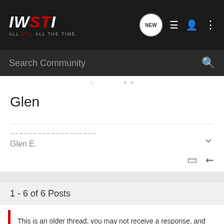IWSTI ALL STI. ALL THE TIME. [nav icons: NEW, list, user, menu]
Search Community
Glen
~~~~~~~~~~~~~~~~~~~
Glen E.
1 - 6 of 6 Posts
This is an older thread, you may not receive a response, and could be reviving an old thread. Please consider creating a new thread.